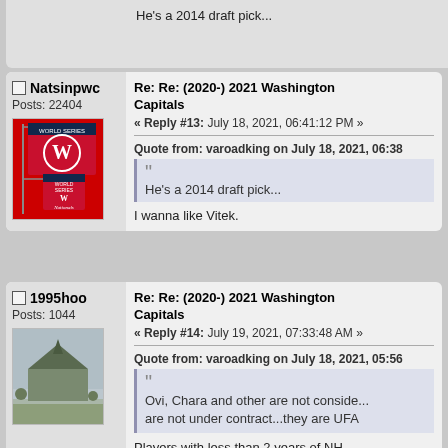He's a 2014 draft pick...
Natsinpwc
Posts: 22404
[Figure (photo): Washington Nationals World Series garden flag]
Re: Re: (2020-) 2021 Washington Capitals
« Reply #13: July 18, 2021, 06:41:12 PM »
Quote from: varoadking on July 18, 2021, 06:38
He's a 2014 draft pick...
I wanna like Vitek.
1995hoo
Posts: 1044
[Figure (photo): Outdoor stadium or arena with pointed roof against a hazy sky]
Re: Re: (2020-) 2021 Washington Capitals
« Reply #14: July 19, 2021, 07:33:48 AM »
Quote from: varoadking on July 18, 2021, 05:56
Ovi, Chara and other are not considered, they are not under contract...they are UFA
Players with less than 2 years of NH...